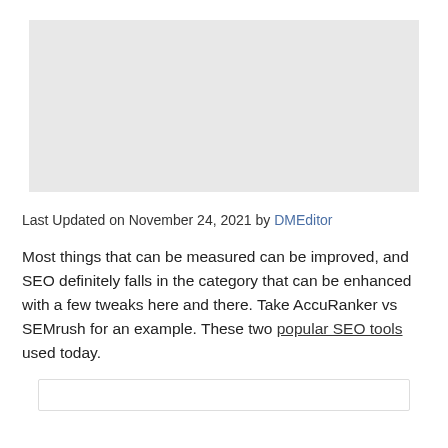[Figure (other): Gray placeholder image block at top of page]
Last Updated on November 24, 2021 by DMEditor
Most things that can be measured can be improved, and SEO definitely falls in the category that can be enhanced with a few tweaks here and there. Take AccuRanker vs SEMrush for an example. These two popular SEO tools used today.
[Figure (other): Bottom bordered box, partially visible]